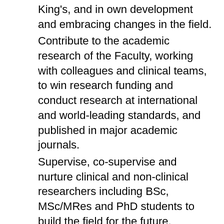King's, and in own development and embracing changes in the field.
Contribute to the academic research of the Faculty, working with colleagues and clinical teams, to win research funding and conduct research at international and world-leading standards, and published in major academic journals.
Supervise, co-supervise and nurture clinical and non-clinical researchers including BSc, MSc/MRes and PhD students to build the field for the future.
Publish research findings in high quality peer view journals, with at least 2 publications that are internationally excellent or world leading by the end of the probation period (3yrs); these can be as co-author.
The above list of responsibilities may not be